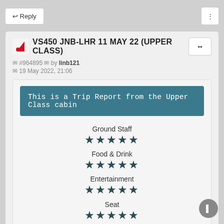↩ Reply
VS450 JNB-LHR 11 MAY 22 (UPPER CLASS)
✉ #964895 ✉ by linb121
✉ 19 May 2022, 21:06
This is a Trip Report from the Upper Class cabin
Ground Staff ★★★★★
Food & Drink ★★★★★
Entertainment ★★★★★
Seat ★★★★★
Cabin Crew ★★★★★